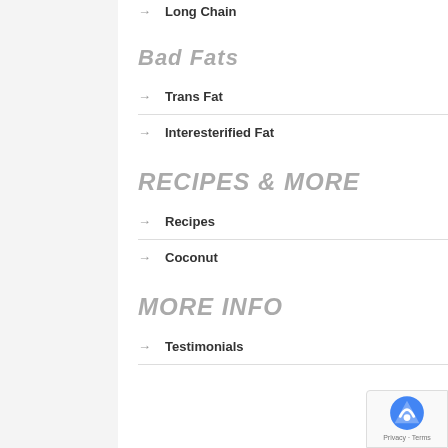Long Chain
Bad Fats
Trans Fat
Interesterified Fat
RECIPES & MORE
Recipes
Coconut
MORE INFO
Testimonials